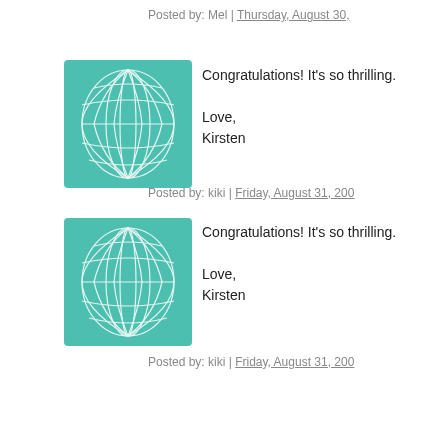Posted by: Mel | Thursday, August 30,
[Figure (illustration): Teal geometric web/sphere avatar icon]
Congratulations! It's so thrilling.

Love,
Kirsten
Posted by: kiki | Friday, August 31, 200
[Figure (illustration): Teal geometric web/sphere avatar icon]
Congratulations! It's so thrilling.

Love,
Kirsten
Posted by: kiki | Friday, August 31, 200
[Figure (illustration): Blue geometric web/sphere avatar icon]
Joo that's terrific!! Congrats!!!

Now I feel better...I was wonderi- long!
Posted by: kate | Tuesday, September 0
[Figure (illustration): Teal geometric web/sphere avatar icon]
A big, warm and loving CONGR